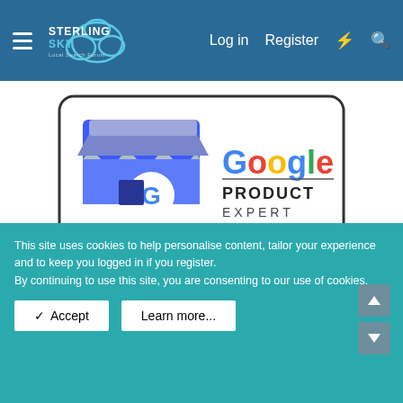Sterling Sky Local Search Forum — Log in | Register
[Figure (logo): Google My Business Product Expert badge logo]
< Local Search
Contact us
This site uses cookies to help personalise content, tailor your experience and to keep you logged in if you register.
By continuing to use this site, you are consenting to our use of cookies.
✓ Accept   Learn more...